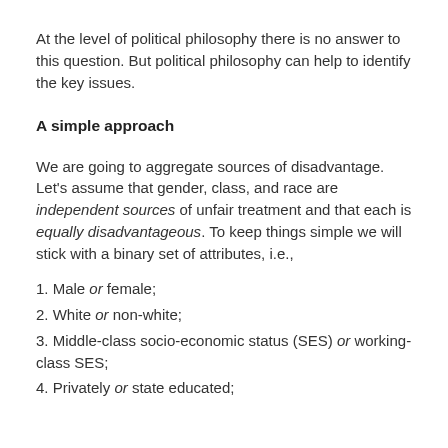At the level of political philosophy there is no answer to this question. But political philosophy can help to identify the key issues.
A simple approach
We are going to aggregate sources of disadvantage. Let's assume that gender, class, and race are independent sources of unfair treatment and that each is equally disadvantageous. To keep things simple we will stick with a binary set of attributes, i.e.,
1. Male or female;
2. White or non-white;
3. Middle-class socio-economic status (SES) or working-class SES;
4. Privately or state educated;